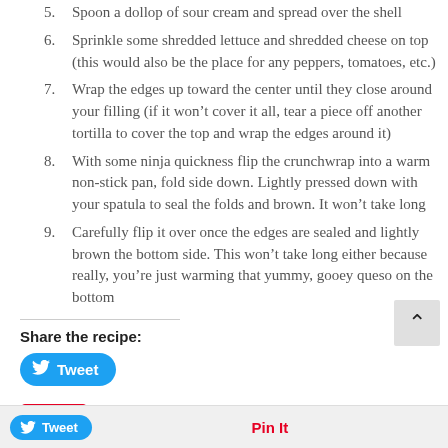5. Spoon a dollop of sour cream and spread over the shell
6. Sprinkle some shredded lettuce and shredded cheese on top (this would also be the place for any peppers, tomatoes, etc.)
7. Wrap the edges up toward the center until they close around your filling (if it won’t cover it all, tear a piece off another tortilla to cover the top and wrap the edges around it)
8. With some ninja quickness flip the crunchwrap into a warm non-stick pan, fold side down. Lightly pressed down with your spatula to seal the folds and brown. It won’t take long
9. Carefully flip it over once the edges are sealed and lightly brown the bottom side. This won’t take long either because really, you’re just warming that yummy, gooey queso on the bottom
Share the recipe:
[Figure (other): Tweet button (blue rounded button with Twitter bird icon and 'Tweet' text)]
[Figure (other): Pin It button (white button with red border and Pinterest 'Pin it' script logo)]
Tweet   Pin It